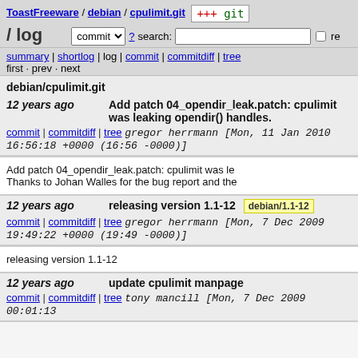ToastFreeware / debian / cpulimit.git / log
commit  ? search:  re
summary | shortlog | log | commit | commitdiff | tree
first · prev · next
debian/cpulimit.git
12 years ago    Add patch 04_opendir_leak.patch: cpulimit was leaking opendir() handles.
commit | commitdiff | tree    gregor herrmann [Mon, 11 Jan 2010 16:56:18 +0000 (16:56 -0000)]
Add patch 04_opendir_leak.patch: cpulimit was le...
Thanks to Johan Walles for the bug report and the...
12 years ago    releasing version 1.1-12  debian/1.1-12
commit | commitdiff | tree    gregor herrmann [Mon, 7 Dec 2009 19:49:22 +0000 (19:49 -0000)]
releasing version 1.1-12
12 years ago    update cpulimit manpage
commit | commitdiff | tree    tony mancill [Mon, 7 Dec 2009 00:01:13